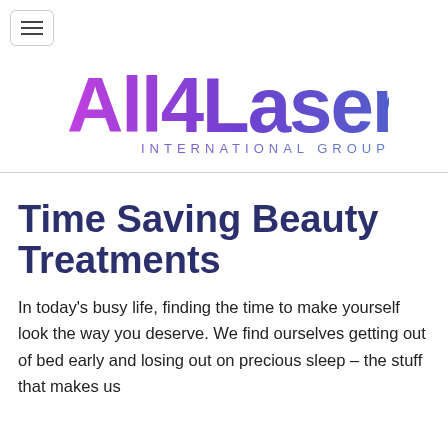[Figure (logo): All4Laser International Group logo with gradient purple text]
Time Saving Beauty Treatments
In today's busy life, finding the time to make yourself look the way you deserve. We find ourselves getting out of bed early and losing out on precious sleep – the stuff that makes us